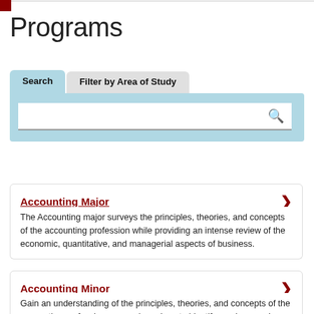Programs
[Figure (screenshot): Search and filter tabs UI with a search box]
Accounting Major
The Accounting major surveys the principles, theories, and concepts of the accounting profession while providing an intense review of the economic, quantitative, and managerial aspects of business.
Accounting Minor
Gain an understanding of the principles, theories, and concepts of the accounting profession, as you learn how to identify, analyze, and solve accounting challenges in ways...